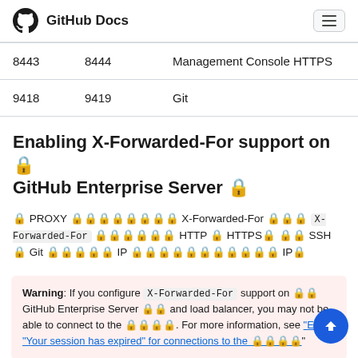GitHub Docs
| 8443 | 8444 | Management Console HTTPS |
| 9418 | 9419 | Git |
Enabling X-Forwarded-For support on 🔒 GitHub Enterprise Server 🔒
🔒 PROXY 🔒🔒🔒🔒🔒🔒🔒🔒 X-Forwarded-For 🔒🔒🔒 X-Forwarded-For 🔒🔒🔒🔒🔒🔒 HTTP 🔒 HTTPS🔒 🔒🔒 SSH 🔒 Git 🔒🔒🔒🔒🔒 IP 🔒🔒🔒🔒🔒🔒🔒🔒🔒🔒🔒 IP🔒
Warning: If you configure X-Forwarded-For support on 🔒🔒 GitHub Enterprise Server 🔒🔒 and load balancer, you may not be able to connect to the 🔒🔒🔒🔒. For more information, see "Error: 'Your session has expired' for connections to the 🔒🔒🔒🔒".